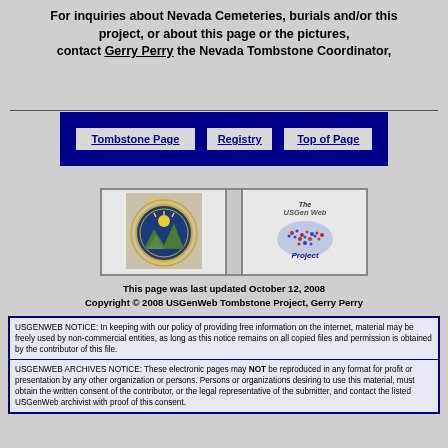For inquiries about Nevada Cemeteries, burials and/or this project, or about this page or the pictures, contact Gerry Perry the Nevada Tombstone Coordinator,
[Figure (other): Navigation table with three buttons: Tombstone Page, Registry, Top of Page, in a dark blue bordered table]
[Figure (other): Two logos: Nevada GenWeb seal (circular state seal) and The USGenWeb Project logo (US map with colorful dots)]
This page was last updated October 12, 2008
Copyright © 2008 USGenWeb Tombstone Project, Gerry Perry
USGENWEB NOTICE: In keeping with our policy of providing free information on the internet, material may be freely used by non-commercial entities, as long as this notice remains on all copied files and permission is obtained by the contributor of this file.
USGENWEB ARCHIVES NOTICE: These electronic pages may NOT be reproduced in any format for profit or presentation by any other organization or persons. Persons or organizations desiring to use this material, must obtain the written consent of the contributor, or the legal representative of the submitter, and contact the listed USGenWeb archivist with proof of this consent.